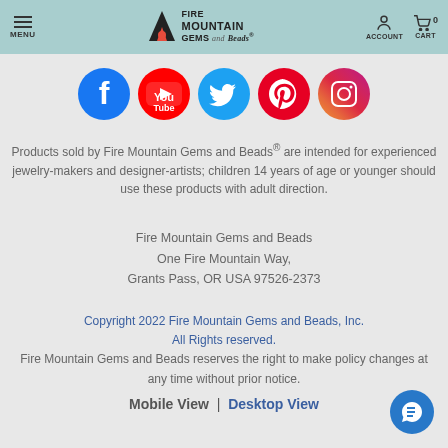MENU | FIRE MOUNTAIN GEMS and Beads® | ACCOUNT | CART 0
[Figure (logo): Social media icons: Facebook, YouTube, Twitter, Pinterest, Instagram]
Products sold by Fire Mountain Gems and Beads® are intended for experienced jewelry-makers and designer-artists; children 14 years of age or younger should use these products with adult direction.
Fire Mountain Gems and Beads
One Fire Mountain Way,
Grants Pass, OR USA 97526-2373
Copyright 2022 Fire Mountain Gems and Beads, Inc.
All Rights reserved.
Fire Mountain Gems and Beads reserves the right to make policy changes at any time without prior notice.
Mobile View  |  Desktop View